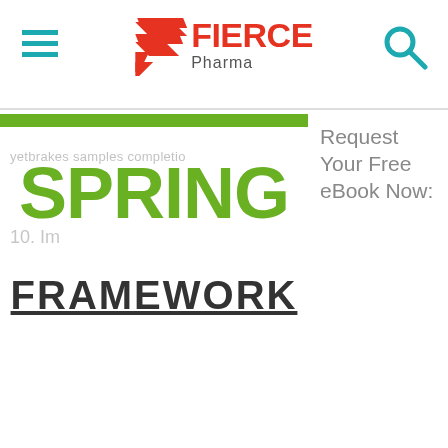Fierce Pharma
[Figure (screenshot): Fierce Pharma website screenshot showing a Spring Framework ebook advertisement with green bar and partially visible text. Sidebar shows 'Request Your Free eBook Now:' text.]
Request Your Free eBook Now: